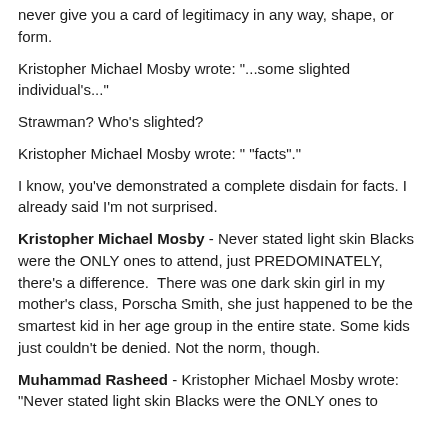never give you a card of legitimacy in any way, shape, or form.
Kristopher Michael Mosby wrote: "...some slighted individual's..."
Strawman? Who's slighted?
Kristopher Michael Mosby wrote: " "facts"."
I know, you've demonstrated a complete disdain for facts. I already said I'm not surprised.
Kristopher Michael Mosby - Never stated light skin Blacks were the ONLY ones to attend, just PREDOMINATELY, there's a difference.  There was one dark skin girl in my mother's class, Porscha Smith, she just happened to be the smartest kid in her age group in the entire state. Some kids just couldn't be denied. Not the norm, though.
Muhammad Rasheed - Kristopher Michael Mosby wrote: "Never stated light skin Blacks were the ONLY ones to